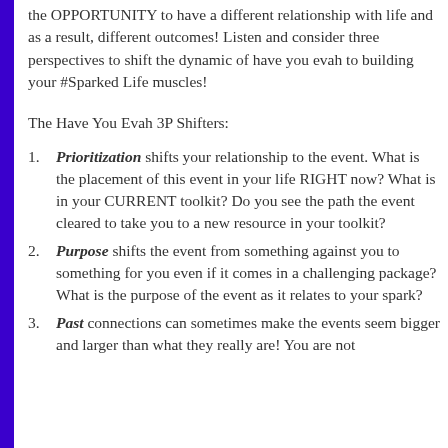the OPPORTUNITY to have a different relationship with life and as a result, different outcomes! Listen and consider three perspectives to shift the dynamic of have you evah to building your #Sparked Life muscles!
The Have You Evah 3P Shifters:
Prioritization shifts your relationship to the event. What is the placement of this event in your life RIGHT now? What is in your CURRENT toolkit? Do you see the path the event cleared to take you to a new resource in your toolkit?
Purpose shifts the event from something against you to something for you even if it comes in a challenging package? What is the purpose of the event as it relates to your spark?
Past connections can sometimes make the events seem bigger and larger than what they really are! You are not the...